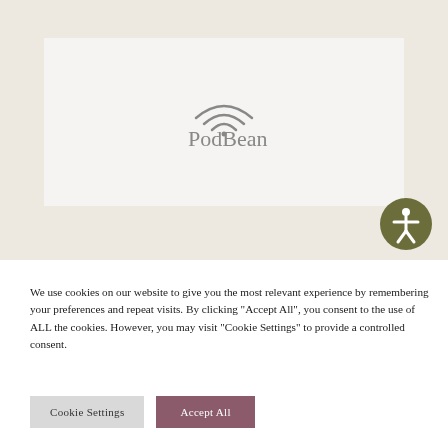[Figure (logo): PodBean logo with wifi/arc icon above text and dots below, displayed in grey on a light background]
[Figure (illustration): Accessibility icon: white person figure in a dark olive/green circle]
We use cookies on our website to give you the most relevant experience by remembering your preferences and repeat visits. By clicking "Accept All", you consent to the use of ALL the cookies. However, you may visit "Cookie Settings" to provide a controlled consent.
Cookie Settings
Accept All